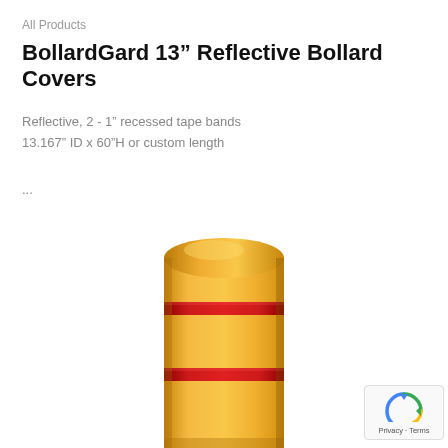All Products
BollardGard 13” Reflective Bollard Covers
Reflective, 2 - 1” recessed tape bands
13.167” ID x 60”H or custom length
...
[Figure (photo): Yellow bollard cover with two red reflective tape bands, shown from above against a white background.]